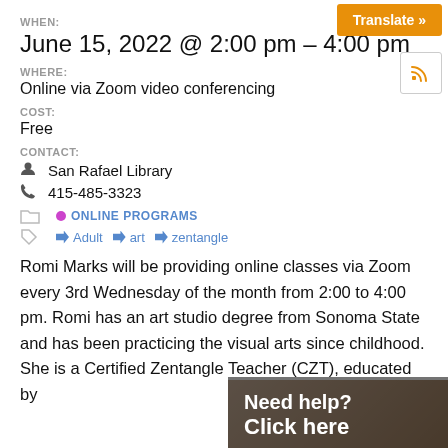WHEN:
June 15, 2022 @ 2:00 pm – 4:00 pm
WHERE:
Online via Zoom video conferencing
COST:
Free
CONTACT:
San Rafael Library
415-485-3323
ONLINE PROGRAMS
Adult  art  zentangle
Romi Marks will be providing online classes via Zoom every 3rd Wednesday of the month from 2:00 to 4:00 pm. Romi has an art studio degree from Sonoma State and has been practicing the visual arts since childhood. She is a Certified Zentangle Teacher (CZT), educated by
[Figure (other): Need help? Click here overlay with photo background]